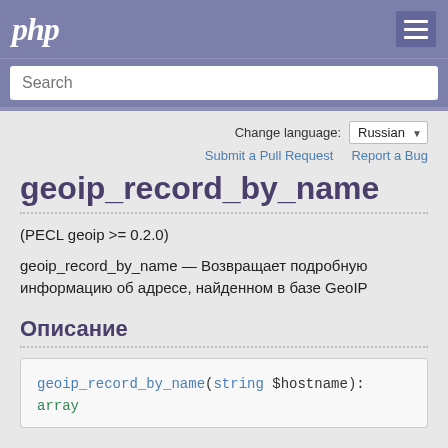php
Search
Change language: Russian
Submit a Pull Request   Report a Bug
geoip_record_by_name
(PECL geoip >= 0.2.0)
geoip_record_by_name — Возвращает подробную информацию об адресе, найденном в базе GeoIP
Описание
geoip_record_by_name(string $hostname): array